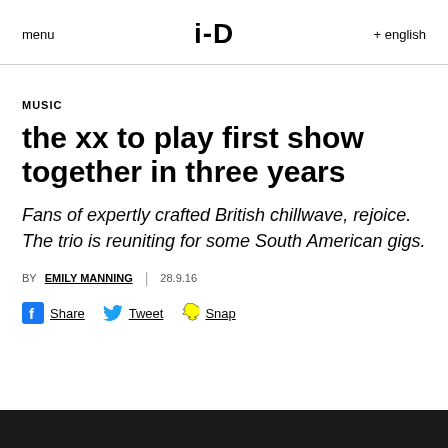menu  i-D  + english
MUSIC
the xx to play first show together in three years
Fans of expertly crafted British chillwave, rejoice. The trio is reuniting for some South American gigs.
BY EMILY MANNING | 28.9.16
Share  Tweet  Snap